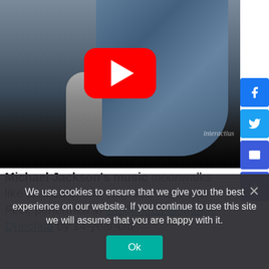[Figure (screenshot): YouTube video thumbnail showing a young woman singing into a microphone outdoors, with a red YouTube play button overlay in the center. Social share buttons (Facebook, Twitter, Email, Plus) appear on the right side.]
Michael Jackson's music moonwalks like an Inca in The Way You Make Me Feel, performed in indigenous language Quechua by 14-year-old
We use cookies to ensure that we give you the best experience on our website. If you continue to use this site we will assume that you are happy with it.